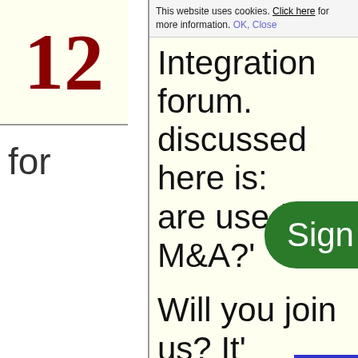This website uses cookies. Click here for more information. OK, Close
12
for
Integration forum. discussed here is: are used in M&A?'
Will you join us? It'
Sign u